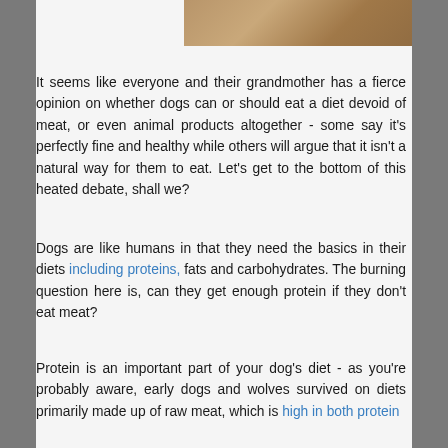[Figure (photo): Partial photo of what appears to be a brown/tan surface, likely a dog or animal fur, cropped at the top of the page.]
It seems like everyone and their grandmother has a fierce opinion on whether dogs can or should eat a diet devoid of meat, or even animal products altogether - some say it's perfectly fine and healthy while others will argue that it isn't a natural way for them to eat. Let's get to the bottom of this heated debate, shall we?
Dogs are like humans in that they need the basics in their diets including proteins, fats and carbohydrates. The burning question here is, can they get enough protein if they don't eat meat?
Protein is an important part of your dog's diet - as you're probably aware, early dogs and wolves survived on diets primarily made up of raw meat, which is high in both protein and fat. But here we see where things are...